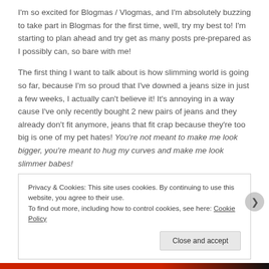I'm so excited for Blogmas / Vlogmas, and I'm absolutely buzzing to take part in Blogmas for the first time, well, try my best to! I'm starting to plan ahead and try get as many posts pre-prepared as I possibly can, so bare with me!
The first thing I want to talk about is how slimming world is going so far, because I'm so proud that I've downed a jeans size in just a few weeks, I actually can't believe it! It's annoying in a way cause I've only recently bought 2 new pairs of jeans and they already don't fit anymore, jeans that fit crap because they're too big is one of my pet hates! You're not meant to make me look bigger, you're meant to hug my curves and make me look slimmer babes!
Privacy & Cookies: This site uses cookies. By continuing to use this website, you agree to their use. To find out more, including how to control cookies, see here: Cookie Policy